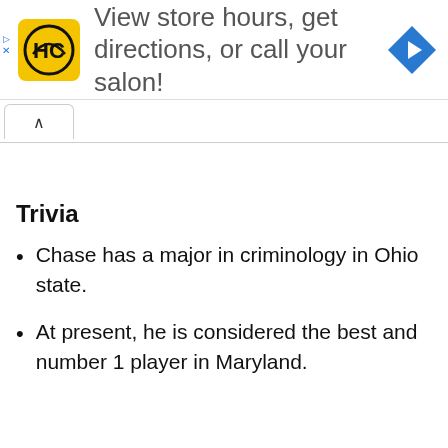[Figure (infographic): Advertisement banner for HC (Hair Club or similar salon brand) showing yellow logo with HC letters, text 'View store hours, get directions, or call your salon!' and a blue navigation arrow icon on the right. Small play and close controls on the left edge.]
Trivia
Chase has a major in criminology in Ohio state.
At present, he is considered the best and number 1 player in Maryland.